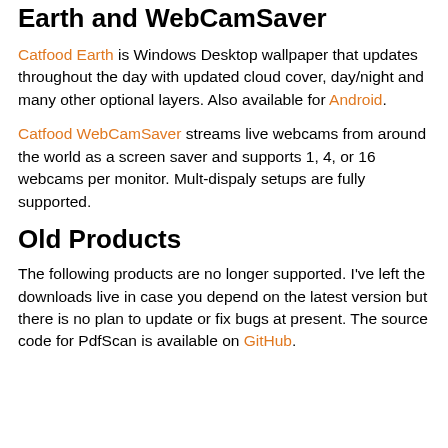Earth and WebCamSaver
Catfood Earth is Windows Desktop wallpaper that updates throughout the day with updated cloud cover, day/night and many other optional layers. Also available for Android.
Catfood WebCamSaver streams live webcams from around the world as a screen saver and supports 1, 4, or 16 webcams per monitor. Mult-dispaly setups are fully supported.
Old Products
The following products are no longer supported. I've left the downloads live in case you depend on the latest version but there is no plan to update or fix bugs at present. The source code for PdfScan is available on GitHub.